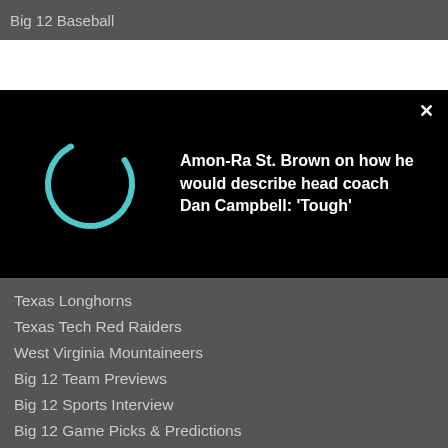Big 12 Baseball
[Figure (screenshot): Video player overlay on black background with a teal loading spinner on the left and white bold text on the right reading: Amon-Ra St. Brown on how he would describe head coach Dan Campbell: 'Tough']
Texas Longhorns
Texas Tech Red Raiders
West Virginia Mountaineers
Big 12 Team Previews
Big 12 Sports Interview
Big 12 Game Picks & Predictions
Big 12 Recruiting
About Us
About Us
Advertising/Contact
Members Forum
Members Login
Big 12 Sports Podcast